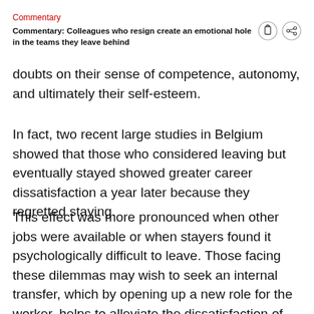Commentary
Commentary: Colleagues who resign create an emotional hole in the teams they leave behind
doubts on their sense of competence, autonomy, and ultimately their self-esteem.
In fact, two recent large studies in Belgium showed that those who considered leaving but eventually stayed showed greater career dissatisfaction a year later because they regretted staying.
This effect was more pronounced when other jobs were available or when stayers found it psychologically difficult to leave. Those facing these dilemmas may wish to seek an internal transfer, which by opening up a new role for the worker, helps to alleviate the dissatisfaction of staying.